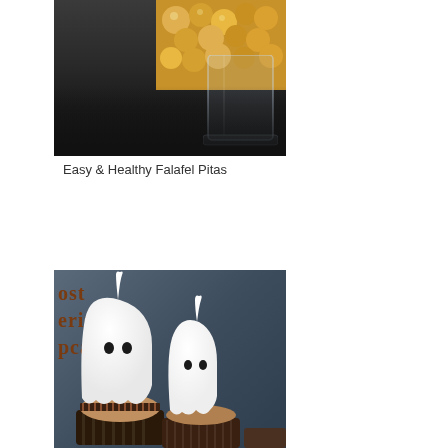[Figure (photo): Dark background food photo showing a glass container with popcorn or chickpeas/snacks at the top, dark moody photography style]
Easy & Healthy Falafel Pitas
[Figure (photo): Halloween ghost meringue cupcakes photo. Two white meringue ghost figures with black dot eyes sit on top of chocolate cupcakes. Background shows text 'most meringue cupcakes' in brown/rust colored serif font on a dark teal/slate background.]